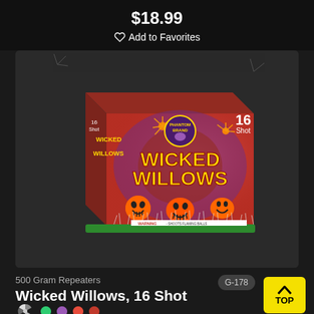♡ Add to Favorites
[Figure (photo): Product photo of Wicked Willows 16 Shot fireworks box by Phantom Brand, featuring Halloween pumpkin face characters and colorful firework bursts on a red background]
500 Gram Repeaters
G-178
Wicked Willows, 16 Shot